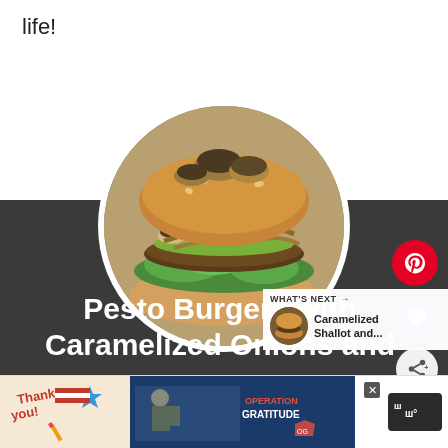life!
[Figure (photo): Circular crop photo of pesto burgers topped with caramelized mushrooms and onions on a bun with greens, displayed against a dark background panel]
Pesto Burgers with Caramelized Onions and
WHAT'S NEXT → Caramelized Shallot and...
[Figure (photo): Advertisement banner: Thank You Operation Gratitude with military imagery]